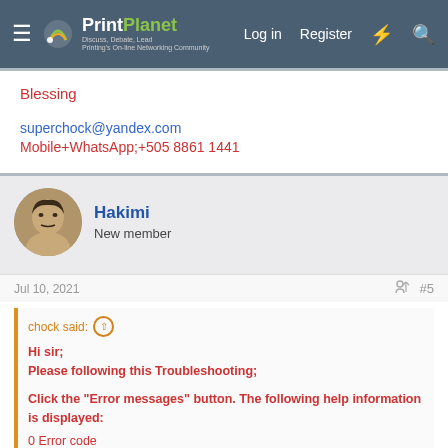PrintPlanet - Discuss, Debate, Lead - Printing's On-line Networking Community | Log in | Register
Blessing
superchock@yandex.com
Mobile+WhatsApp;+505 8861 1441
Hakimi
New member
Jul 10, 2021  #5
chock said:
Hi sir;
Please following this Troubleshooting;
Click the "Error messages" button. The following help information is displayed:
0 Error code
0 Description of error